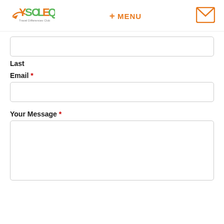[Figure (logo): YSOLEQ logo with green and orange text and small airplane graphic, tagline below]
+ MENU
[Figure (illustration): Orange envelope/mail icon]
Last
Email *
Your Message *